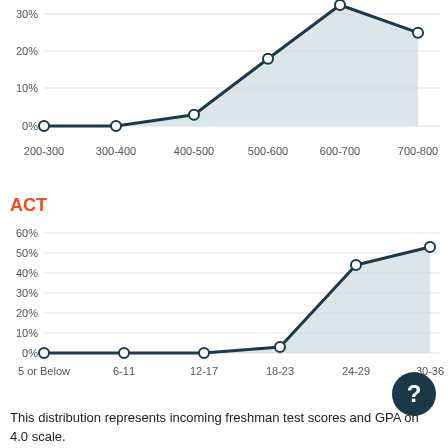[Figure (area-chart): SAT (top portion)]
ACT
[Figure (area-chart): ACT]
This distribution represents incoming freshman test scores and GPA on 4.0 scale.